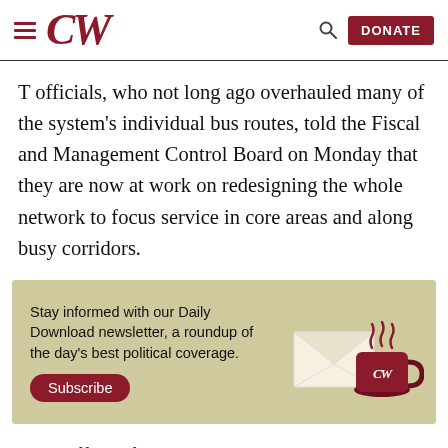CW — DONATE
T officials, who not long ago overhauled many of the system's individual bus routes, told the Fiscal and Management Control Board on Monday that they are now at work on redesigning the whole network to focus service in core areas and along busy corridors.
[Figure (infographic): Advertisement banner with tan/khaki background. Text reads: 'Stay informed with our Daily Download newsletter, a roundup of the day's best political coverage.' Subscribe button in dark red. Illustration of envelope and red CW-branded coffee cup with steam.]
They offered few details, but said the redesign will attempt to get the vast majority of T bus riders to their